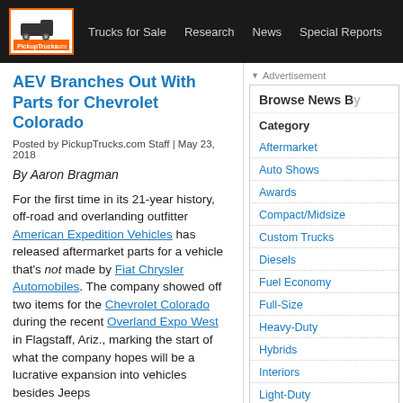PickupTrucks.com | Trucks for Sale | Research | News | Special Reports
AEV Branches Out With Parts for Chevrolet Colorado
Posted by PickupTrucks.com Staff | May 23, 2018
By Aaron Bragman
For the first time in its 21-year history, off-road and overlanding outfitter American Expedition Vehicles has released aftermarket parts for a vehicle that's not made by Fiat Chrysler Automobiles. The company showed off two items for the Chevrolet Colorado during the recent Overland Expo West in Flagstaff, Ariz., marking the start of what the company hopes will be a lucrative expansion into vehicles besides Jeeps
Browse News By
Category
Aftermarket
Auto Shows
Awards
Compact/Midsize
Custom Trucks
Diesels
Fuel Economy
Full-Size
Heavy-Duty
Hybrids
Interiors
Light-Duty